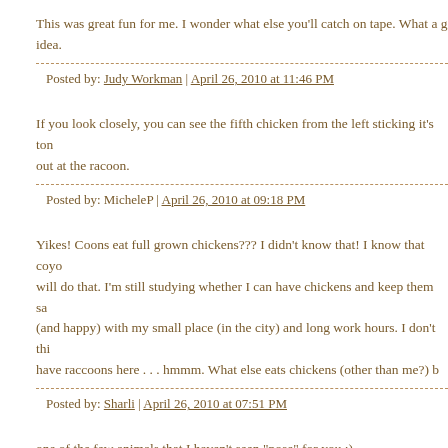This was great fun for me. I wonder what else you'll catch on tape. What a g idea.
Posted by: Judy Workman | April 26, 2010 at 11:46 PM
If you look closely, you can see the fifth chicken from the left sticking it's ton out at the racoon.
Posted by: MicheleP | April 26, 2010 at 09:18 PM
Yikes! Coons eat full grown chickens??? I didn't know that! I know that coyo will do that. I'm still studying whether I can have chickens and keep them sa (and happy) with my small place (in the city) and long work hours. I don't thi have raccoons here . . . hmmm. What else eats chickens (other than me?) b
Posted by: Sharli | April 26, 2010 at 07:51 PM
one of the few animals that I haven't seen "pose" for you :)
He seems to be VERY shifty